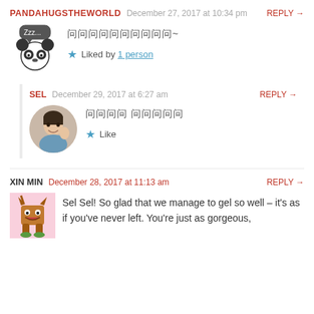PANDAHUGSTHEWORLD   December 27, 2017 at 10:34 pm   REPLY →
[Chinese characters]~
★ Liked by 1 person
SEL   December 29, 2017 at 6:27 am   REPLY →
[Chinese characters]
★ Like
XIN MIN   December 28, 2017 at 11:13 am   REPLY →
Sel Sel! So glad that we manage to gel so well – it's as if you've never left. You're just as gorgeous,